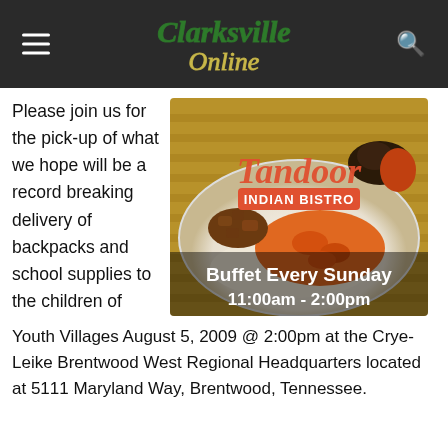Clarksville Online
Please join us for the pick-up of what we hope will be a record breaking delivery of backpacks and school supplies to the children of Youth Villages August 5, 2009 @ 2:00pm at the Crye-Leike Brentwood West Regional Headquarters located at 5111 Maryland Way, Brentwood, Tennessee.
[Figure (photo): Tandoor Indian Bistro advertisement showing a plate of Indian food with the text 'Buffet Every Sunday 11:00am - 2:00pm']